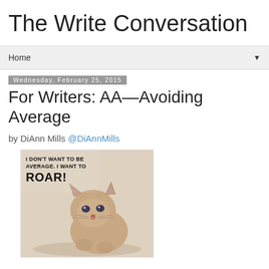The Write Conversation
Home
Wednesday, February 25, 2015
For Writers: AA—Avoiding Average
by DiAnn Mills @DiAnnMills
[Figure (photo): A small fluffy kitten in a crouching pose on a light background, with meme text reading 'I DON'T WANT TO BE AVERAGE. I WANT TO ROAR!']